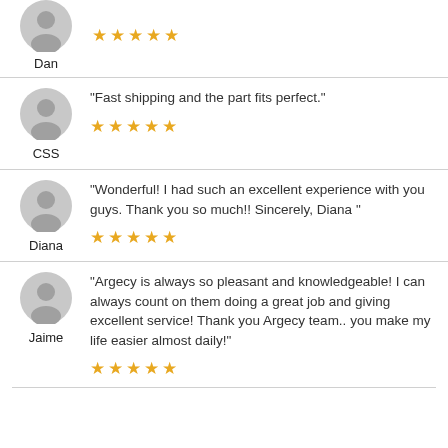Dan
★★★★★ (5 stars)
“Fast shipping and the part fits perfect.”
CSS
★★★★★ (5 stars)
“Wonderful! I had such an excellent experience with you guys. Thank you so much!! Sincerely, Diana ”
Diana
★★★★★ (5 stars)
“Argecy is always so pleasant and knowledgeable! I can always count on them doing a great job and giving excellent service! Thank you Argecy team.. you make my life easier almost daily!”
Jaime
★★★★★ (5 stars)